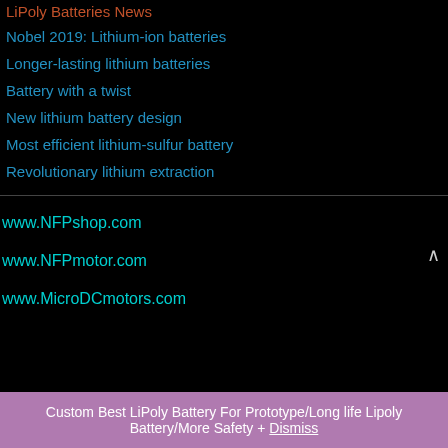LiPoly Batteries News
Nobel 2019: Lithium-ion batteries
Longer-lasting lithium batteries
Battery with a twist
New lithium battery design
Most efficient lithium-sulfur battery
Revolutionary lithium extraction
www.NFPshop.com
www.NFPmotor.com
www.MicroDCmotors.com
Custom Best LiPoly Battery For Prototype/Long life Lipoly Battery/More Safety + Dismiss